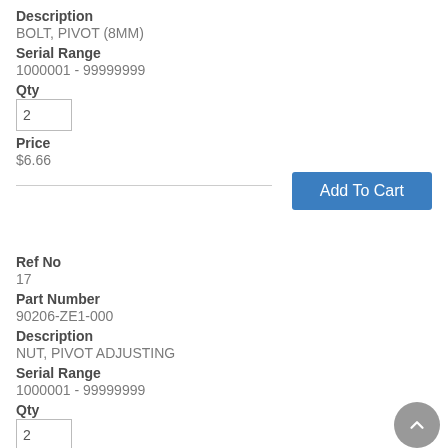Description
BOLT, PIVOT (8MM)
Serial Range
1000001 - 99999999
Qty
2
Price
$6.66
Ref No
17
Part Number
90206-ZE1-000
Description
NUT, PIVOT ADJUSTING
Serial Range
1000001 - 99999999
Qty
2